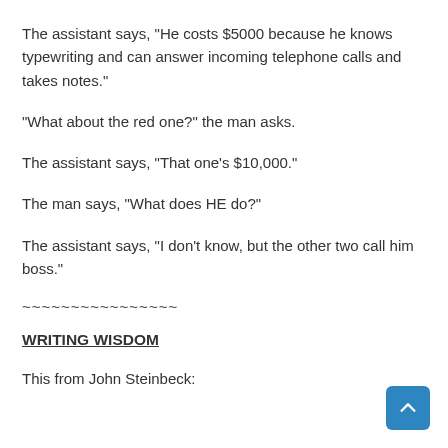The assistant says, "He costs $5000 because he knows typewriting and can answer incoming telephone calls and takes notes."
"What about the red one?" the man asks.
The assistant says, "That one’s $10,000."
The man says, "What does HE do?"
The assistant says, "I don’t know, but the other two call him boss."
~~~~~~~~~~~~~~~~
WRITING WISDOM
This from John Steinbeck: